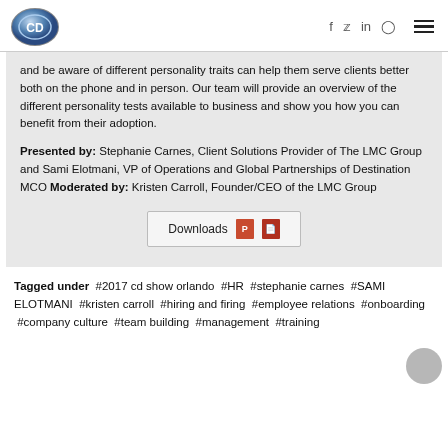CD logo | social icons: f, twitter, in, instagram | hamburger menu
and be aware of different personality traits can help them serve clients better both on the phone and in person. Our team will provide an overview of the different personality tests available to business and show you how you can benefit from their adoption.
Presented by: Stephanie Carnes, Client Solutions Provider of The LMC Group and Sami Elotmani, VP of Operations and Global Partnerships of Destination MCO
Moderated by: Kristen Carroll, Founder/CEO of the LMC Group
[Figure (other): Downloads button with PPT and PDF file icons]
Tagged under #2017 cd show orlando #HR #stephanie carnes #SAMI ELOTMANI #kristen carroll #hiring and firing #employee relations #onboarding #company culture #team building #management #training